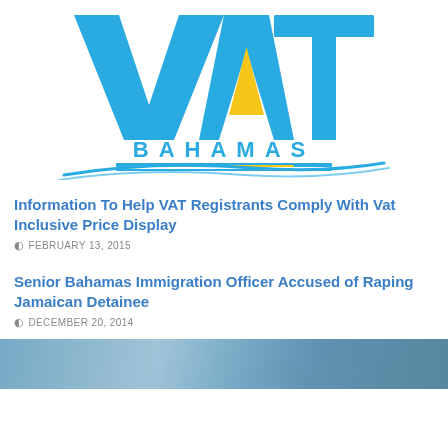[Figure (logo): VAT Bahamas logo — large blue block letters V, A, T with a yellow triangle inside the A, the word BAHAMAS beneath in spaced blue letters, and blue swoosh/wave lines below]
Information To Help VAT Registrants Comply With Vat Inclusive Price Display
FEBRUARY 13, 2015
Senior Bahamas Immigration Officer Accused of Raping Jamaican Detainee
DECEMBER 20, 2014
[Figure (photo): Partial photo at bottom of page, appears to show a person outdoors with blue/green tones]